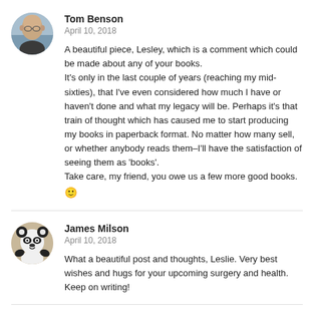[Figure (photo): Circular avatar photo of Tom Benson, a bald man wearing glasses outdoors]
Tom Benson
April 10, 2018
A beautiful piece, Lesley, which is a comment which could be made about any of your books.
It's only in the last couple of years (reaching my mid-sixties), that I've even considered how much I have or haven't done and what my legacy will be. Perhaps it's that train of thought which has caused me to start producing my books in paperback format. No matter how many sell, or whether anybody reads them–I'll have the satisfaction of seeing them as 'books'.
Take care, my friend, you owe us a few more good books. 🙂
[Figure (photo): Circular avatar photo of James Milson, showing a stuffed panda toy]
James Milson
April 10, 2018
What a beautiful post and thoughts, Leslie. Very best wishes and hugs for your upcoming surgery and health. Keep on writing!